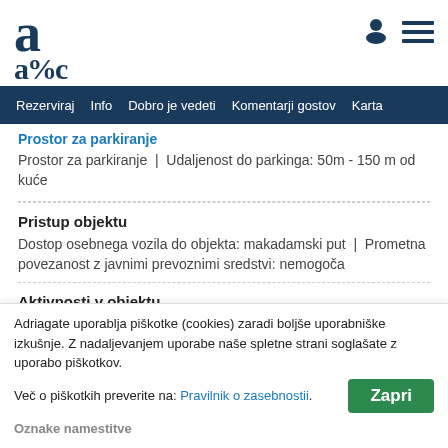a (logo) | person icon | menu icon
Rezerviraj | Info | Dobro je vedeti | Komentarji gostov | Karta
Prostor za parkiranje
Prostor za parkiranje  |  Udaljenost do parkinga: 50m - 150 m od kuće
Pristup objektu
Dostop osebnega vozila do objekta: makadamski put  |  Prometna povezanost z javnimi prevoznimi sredstvi: nemogoča
Aktivnosti v objektu
Roštilj
Podatki o najemodalteleu
Oznake namestitve
Adriagate uporablja piškotke (cookies) zaradi boljše uporabniške izkušnje. Z nadaljevanjem uporabe naše spletne strani soglašate z uporabo piškotkov.
Več o piškotkih preverite na: Pravilnik o zasebnosti.
Zapri